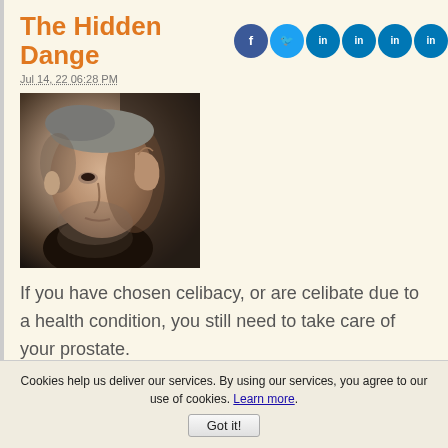The Hidden Danger of Celibacy
Jul 14, 22 06:28 PM
[Figure (photo): Black and white / sepia-toned close-up portrait of a thoughtful-looking man with short hair, resting his hand near his face, looking downward]
If you have chosen celibacy, or are celibate due to a health condition, you still need to take care of your prostate.
Cookies help us deliver our services. By using our services, you agree to our use of cookies. Learn more.
Got it!